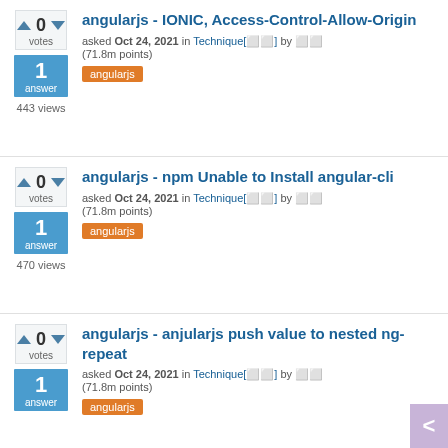angularjs - IONIC, Access-Control-Allow-Origin
asked Oct 24, 2021 in Technique[OD] by OD (71.8m points)
angularjs
0 votes | 1 answer | 443 views
angularjs - npm Unable to Install angular-cli
asked Oct 24, 2021 in Technique[OD] by OD (71.8m points)
angularjs
0 votes | 1 answer | 470 views
angularjs - anjularjs push value to nested ng-repeat
asked Oct 24, 2021 in Technique[OD] by OD (71.8m points)
angularjs
0 votes | 1 answer